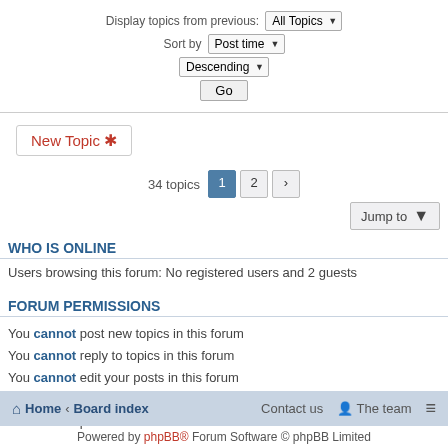Display topics from previous: All Topics ▼
Sort by: Post time ▼
Descending ▼
Go
New Topic ✱
34 topics  1  2  ›
Jump to
WHO IS ONLINE
Users browsing this forum: No registered users and 2 guests
FORUM PERMISSIONS
You cannot post new topics in this forum
You cannot reply to topics in this forum
You cannot edit your posts in this forum
You cannot delete your posts in this forum
You cannot post attachments in this forum
Home · Board index   Contact us   The team   ≡   Powered by phpBB® Forum Software © phpBB Limited